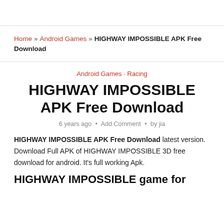Home » Android Games » HIGHWAY IMPOSSIBLE APK Free Download
Android Games · Racing
HIGHWAY IMPOSSIBLE APK Free Download
6 years ago • Add Comment • by jia
HIGHWAY IMPOSSIBLE APK Free Download latest version. Download Full APK of HIGHWAY IMPOSSIBLE 3D free download for android. It's full working Apk.
HIGHWAY IMPOSSIBLE game for